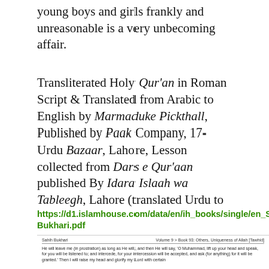young boys and girls frankly and unreasonable is a very unbecoming affair.
Transliterated Holy Qur’an in Roman Script & Translated from Arabic to English by Marmaduke Pickthall, Published by Paak Company, 17-Urdu Bazaar, Lahore, Lesson collected from Dars e Qur’aan published By Idara Islaah wa Tableegh, Lahore (translated Urdu to English by Muhammad Sharif).  https://youtu.be/PHKsQbo_MuM
[Figure (screenshot): Screenshot of a PDF from islamhouse.com - Sahih Bukhari, Volume 9, Book 93, showing text about prostration and Muhammad raising his head to glorify the Lord.]